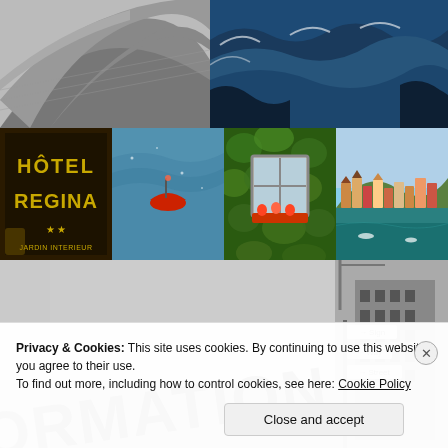[Figure (photo): Grid of travel/architecture photos: top row has black-and-white architectural photo and blue ocean waves; middle row has Hotel Regina sign, red boat on water, ivy-covered wall with window, and coastal hillside town (Cinque Terre); bottom row has black-and-white close-up of 'FORMATION' sign and black-and-white city building with street signs]
Privacy & Cookies: This site uses cookies. By continuing to use this website, you agree to their use.
To find out more, including how to control cookies, see here: Cookie Policy
Close and accept